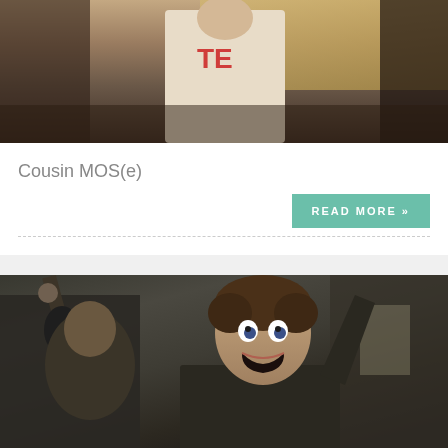[Figure (photo): A person in a barn-like setting wearing a top with red lettering, hay/straw visible in background]
Cousin MOS(e)
READ MORE »
[Figure (photo): A young man with wide eyes and open mouth screaming or yelling, arm raised, in a dark outdoor medieval-looking scene with another figure behind him]